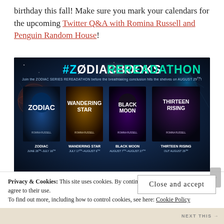birthday this fall! Make sure you mark your calendars for the upcoming Twitter Q&A with Romina Russell and Penguin Random House!
[Figure (illustration): #ZODIACBOOKS REREADATHON promotional banner showing four book covers: Zodiac (June 26th–July 16th), Wandering Star (July 17th–August 6th), Black Moon (August 7th–August 27th), Thirteen Rising (Out August 29th). Text reads: Join the ZODIAC SERIES REREADATHON before the breathtaking conclusion hits the shelves on AUGUST 29th!]
Privacy & Cookies: This site uses cookies. By continuing to use this website, you agree to their use. To find out more, including how to control cookies, see here: Cookie Policy
Close and accept